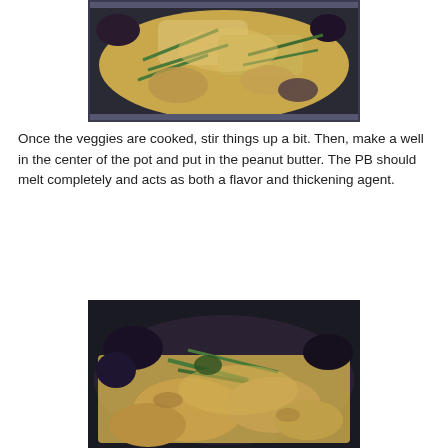[Figure (photo): A pot with cooked vegetables including green beans, eggplant, and other vegetables in a creamy peanut sauce, viewed from above.]
Once the veggies are cooked, stir things up a bit. Then, make a well in the center of the pot and put in the peanut butter. The PB should melt completely and acts as both a flavor and thickening agent.
[Figure (photo): A close-up of a pot with cooked vegetables and meat in a creamy peanut sauce, showing green beans, eggplant, and chicken pieces.]